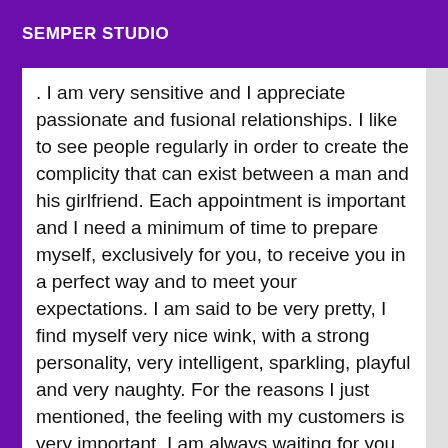SEMPER STUDIO
. I am very sensitive and I appreciate passionate and fusional relationships. I like to see people regularly in order to create the complicity that can exist between a man and his girlfriend. Each appointment is important and I need a minimum of time to prepare myself, exclusively for you, to receive you in a perfect way and to meet your expectations. I am said to be very pretty, I find myself very nice wink, with a strong personality, very intelligent, sparkling, playful and very naughty. For the reasons I just mentioned, the feeling with my customers is very important. I am always waiting for you in a very sexy and elegant outfit. For me, it is important that you remember me, because I would like to become the woman you dream of charming. With a very good education, I am a follower of love, humor, voluptuousness and courtesy. Each appointment is unique and I do my best to satisfy the desires of my clients. Without saying more, allow me to...